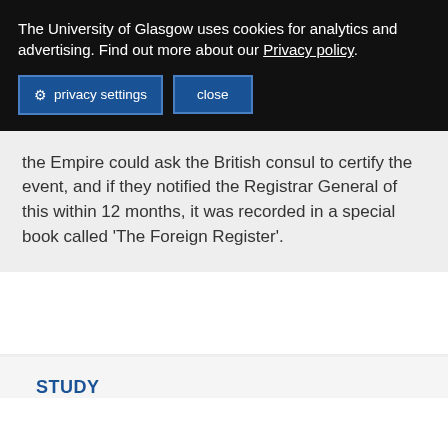The University of Glasgow uses cookies for analytics and advertising. Find out more about our Privacy policy.
the Empire could ask the British consul to certify the event, and if they notified the Registrar General of this within 12 months, it was recorded in a special book called 'The Foreign Register'.
STUDY